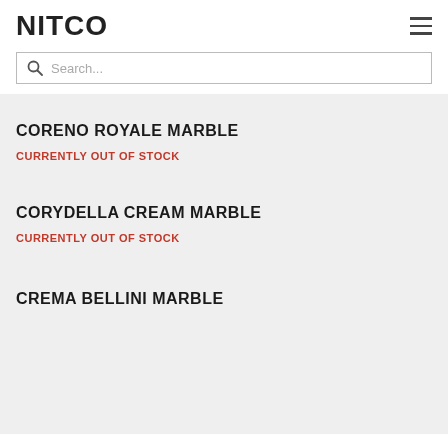NITCO
Search...
CORENO ROYALE MARBLE
CURRENTLY OUT OF STOCK
CORYDELLA CREAM MARBLE
CURRENTLY OUT OF STOCK
CREMA BELLINI MARBLE